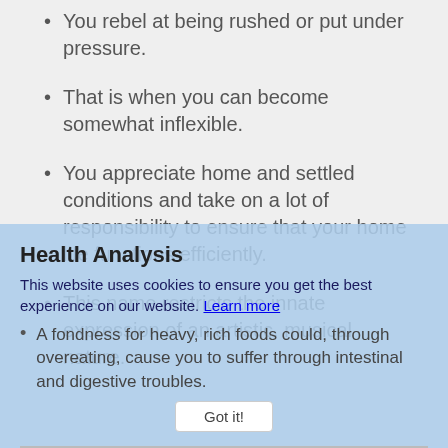You rebel at being rushed or put under pressure.
That is when you can become somewhat inflexible.
You appreciate home and settled conditions and take on a lot of responsibility to ensure that your home life functions efficiently.
This name restricts the innate expression of an artistic, musical nature.
Health Analysis
This website uses cookies to ensure you get the best experience on our website. Learn more
A fondness for heavy, rich foods could, through overeating, cause you to suffer through intestinal and digestive troubles.